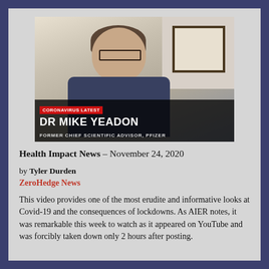[Figure (screenshot): Video screenshot of Dr Mike Yeadon with lower-third chyron. Red tag reads 'CORONAVIRUS LATEST', name bar reads 'DR MIKE YEADON', subtitle reads 'FORMER CHIEF SCIENTIFIC ADVISOR, PFIZER']
Health Impact News – November 24, 2020
by Tyler Durden
ZeroHedge News
This video provides one of the most erudite and informative looks at Covid-19 and the consequences of lockdowns. As AIER notes, it was remarkable this week to watch as it appeared on YouTube and was forcibly taken down only 2 hours after posting.